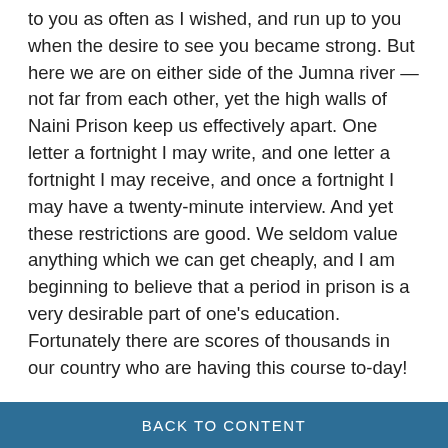to you as often as I wished, and run up to you when the desire to see you became strong. But here we are on either side of the Jumna river — not far from each other, yet the high walls of Naini Prison keep us effectively apart. One letter a fortnight I may write, and one letter a fortnight I may receive, and once a fortnight I may have a twenty-minute interview. And yet these restrictions are good. We seldom value anything which we can get cheaply, and I am beginning to believe that a period in prison is a very desirable part of one's education. Fortunately there are scores of thousands in our country who are having this course to-day!
BACK TO CONTENT